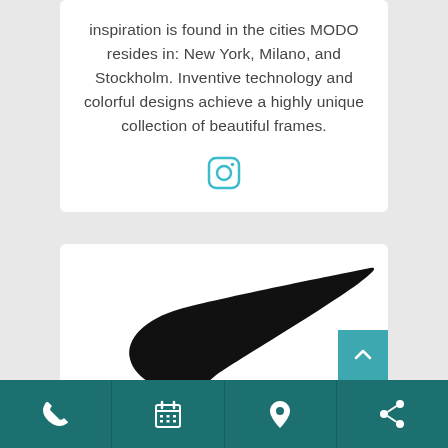inspiration is found in the cities MODO resides in: New York, Milano, and Stockholm. Inventive technology and colorful designs achieve a highly unique collection of beautiful frames.
[Figure (logo): Instagram icon - rounded square camera outline in teal/cyan color]
[Figure (logo): Nike swoosh logo in black on white background]
[Figure (other): Mobile app footer navigation bar with teal background containing phone, calendar, location pin, and share icons]